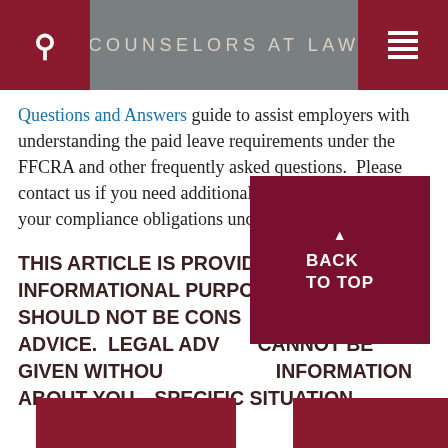COUNSELORS AT LAW
Questions and Answers guide to assist employers with understanding the paid leave requirements under the FFCRA and other frequently asked questions. Please contact us if you need additional counsel as you interpret your compliance obligations under these regulations.
THIS ARTICLE IS PROVIDED FOR INFORMATIONAL PURPOSES ONLY AND SHOULD NOT BE CONSIDERED LEGAL ADVICE. LEGAL ADVICE CANNOT BE GIVEN WITHOUT SPECIFIC INFORMATION ABOUT YOUR SPECIFIC SITUATION.